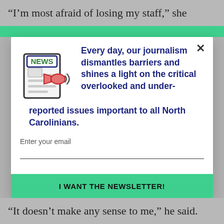“I’m most afraid of losing my staff,” she
[Figure (screenshot): Newsletter signup modal popup with news icon, headline text about journalism, email input field, and green 'I WANT THE NEWSLETTER!' button]
“It doesn’t make any sense to me,” he said.